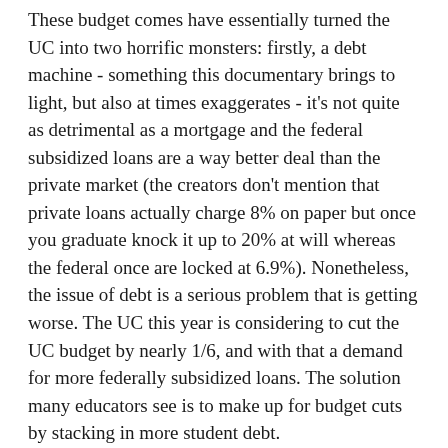These budget comes have essentially turned the UC into two horrific monsters: firstly, a debt machine - something this documentary brings to light, but also at times exaggerates - it's not quite as detrimental as a mortgage and the federal subsidized loans are a way better deal than the private market (the creators don't mention that private loans actually charge 8% on paper but once you graduate knock it up to 20% at will whereas the federal once are locked at 6.9%). Nonetheless, the issue of debt is a serious problem that is getting worse. The UC this year is considering to cut the UC budget by nearly 1/6, and with that a demand for more federally subsidized loans. The solution many educators see is to make up for budget cuts by stacking in more student debt.
The other monster it's created is an elite university for the wealthy and not necessarily the talented - the very thing the founders of the UC wanted to avoid! I cannot help but notice that the quality of students is considerably less than what it was a decade or even two decades ago -